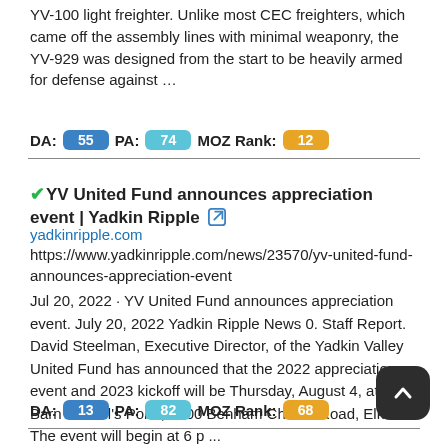YV-100 light freighter. Unlike most CEC freighters, which came off the assembly lines with minimal weaponry, the YV-929 was designed from the start to be heavily armed for defense against …
DA: 55  PA: 74  MOZ Rank: 12
✔YV United Fund announces appreciation event | Yadkin Ripple 🔗
yadkinripple.com
https://www.yadkinripple.com/news/23570/yv-united-fund-announces-appreciation-event
Jul 20, 2022 · YV United Fund announces appreciation event. July 20, 2022 Yadkin Ripple News 0. Staff Report. David Steelman, Executive Director, of the Yadkin Valley United Fund has announced that the 2022 appreciation event and 2023 kickoff will be Thursday, August 4, at The Barn at Wall's Pond, 1200 Benham Church Road, Elkin. The event will begin at 6 p ...
DA: 13  PA: 82  MOZ Rank: 68
✔Frank Sinatra - Pennies From Heaven - YouTube 🔗